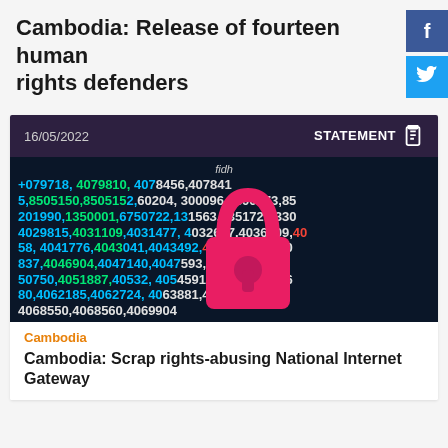Cambodia: Release of fourteen human rights defenders
[Figure (illustration): Facebook social media icon button (blue square with white 'f')]
[Figure (illustration): Twitter social media icon button (blue square with white bird logo)]
16/05/2022
STATEMENT
[Figure (photo): Digital cybersecurity image showing a pink/red padlock over a dark background filled with green, blue, and white flowing numbers. A 'fidh' watermark appears at the top center.]
Cambodia
Cambodia: Scrap rights-abusing National Internet Gateway